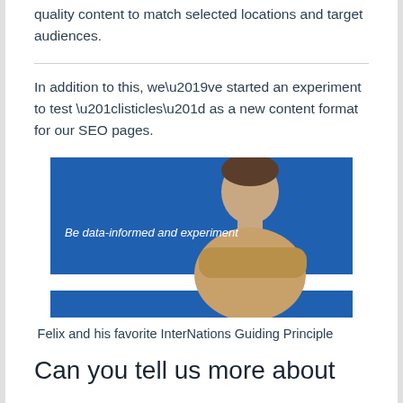quality content to match selected locations and target audiences.
In addition to this, we’ve started an experiment to test “listicles” as a new content format for our SEO pages.
[Figure (photo): A smiling young man with arms crossed against a blue background, with white text overlay reading 'Be data-informed and experiment']
Felix and his favorite InterNations Guiding Principle
Can you tell us more about